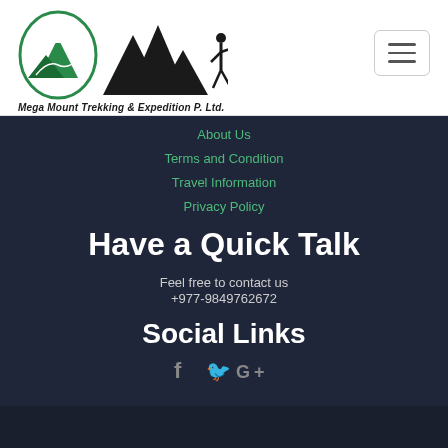[Figure (logo): Mega Mount Trekking & Expedition P. Ltd. logo with mountain silhouette and hiker]
[Figure (other): Hamburger menu icon (three horizontal lines) in a rounded rectangle border]
About Us
Terms and Condition
Travel Information
Privacy Policy
Have a Quick Talk
Feel free to contact us
+977-9849762672
Social Links
[Figure (other): Social media icons: Facebook (f), Twitter (bird), Google+ (G+)]
© 2019, MegaMounts Treks. All Rights Reserved